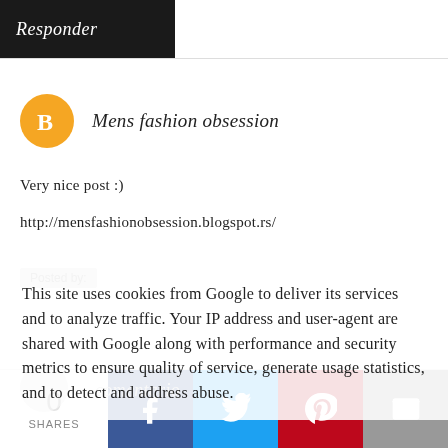Responder
Mens fashion obsession
Very nice post :)
http://mensfashionobsession.blogspot.rs/
This site uses cookies from Google to deliver its services and to analyze traffic. Your IP address and user-agent are shared with Google along with performance and security metrics to ensure quality of service, generate usage statistics, and to detect and address abuse.
0 SHARES